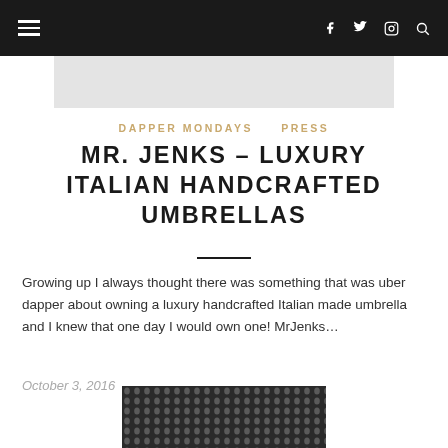Navigation bar with hamburger menu and social icons (Facebook, Twitter, Instagram, Search)
[Figure (photo): Light grey banner/header image placeholder]
DAPPER MONDAYS  PRESS
MR. JENKS – LUXURY ITALIAN HANDCRAFTED UMBRELLAS
Growing up I always thought there was something that was uber dapper about owning a luxury handcrafted Italian made umbrella and I knew that one day I would own one! MrJenks…
October 3, 2016
[Figure (photo): Close-up photo of dark textured fabric, likely an umbrella canopy material]